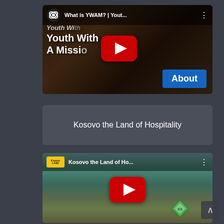[Figure (screenshot): YouTube video thumbnail for 'What is YWAM? | Yout...' showing YWAM logo, text 'Youth With A Missi...' with large red YouTube play button and a blue 'About' button in bottom right corner]
Kosovo the Land of Hospitality
[Figure (screenshot): YouTube video thumbnail for 'Kosovo the Land of Ho...' showing mountainous landscape with buildings, red YouTube play button centered, Kosovo diamond logo watermark in bottom right]